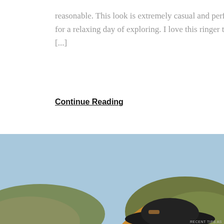reasonable. This look is extremely casual and perfect for a relaxing day of exploring. I love this ringer tee by [...]
Continue Reading
[Figure (photo): Woman wearing a wide-brimmed black hat and mustard sweater, standing outdoors with sandy dunes and blue sky in the background, holding the brim of her hat]
Advertisements